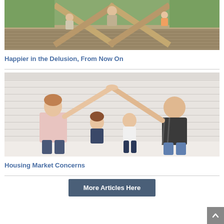[Figure (photo): Overhead/mirrored view of people sitting on wooden X-shaped benches at a playground]
Happier in the Delusion, From Now On
[Figure (photo): A family of four (mother, father, two children) sitting against a white brick wall, parents forming a roof shape with their hands above the children]
Housing Market Concerns
More Articles Here